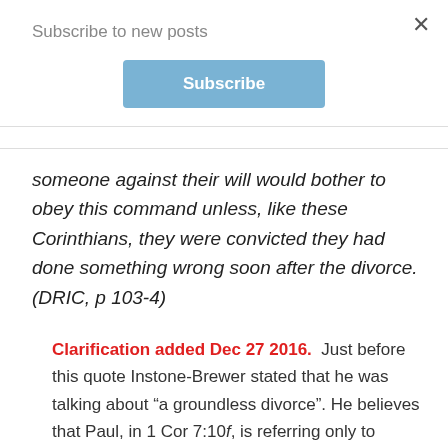Subscribe to new posts
Subscribe
someone against their will would bother to obey this command unless, like these Corinthians, they were convicted they had done something wrong soon after the divorce. (DRIC, p 103-4)
Clarification added Dec 27 2016.  Just before this quote Instone-Brewer stated that he was talking about “a groundless divorce”. He believes that Paul, in 1 Cor 7:10f, is referring only to divorcees that have no biblical grounds. But I think 1 Cor 7:10-15 is referring to more kinds of divorces than only